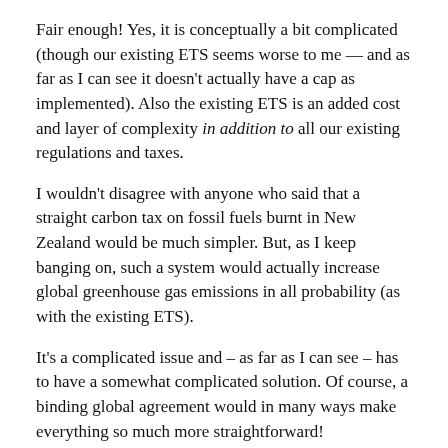Fair enough! Yes, it is conceptually a bit complicated (though our existing ETS seems worse to me — and as far as I can see it doesn't actually have a cap as implemented). Also the existing ETS is an added cost and layer of complexity in addition to all our existing regulations and taxes.
I wouldn't disagree with anyone who said that a straight carbon tax on fossil fuels burnt in New Zealand would be much simpler. But, as I keep banging on, such a system would actually increase global greenhouse gas emissions in all probability (as with the existing ETS).
It's a complicated issue and – as far as I can see – has to have a somewhat complicated solution. Of course, a binding global agreement would in many ways make everything so much more straightforward!
Addendum: it's possible that a PGST could actually simplify the tax system overall. The current system of duties and GST do make a lot of complications for a lot of people. A PGST would transfer the